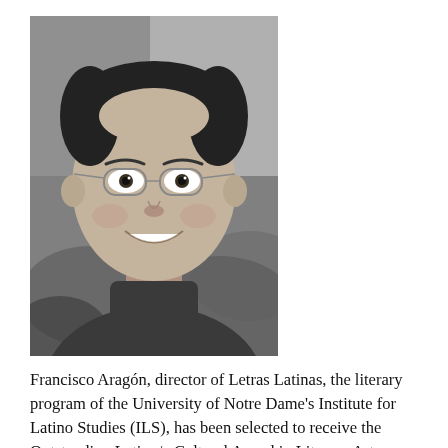[Figure (photo): Black and white portrait photograph of Francisco Aragón, a man with glasses, smiling, wearing a turtleneck sweater, with a blurred outdoor background.]
Francisco Aragón, director of Letras Latinas, the literary program of the University of Notre Dame's Institute for Latino Studies (ILS), has been selected to receive the Outstanding Latino/a Cultural Award in Literary Arts or Publications given by